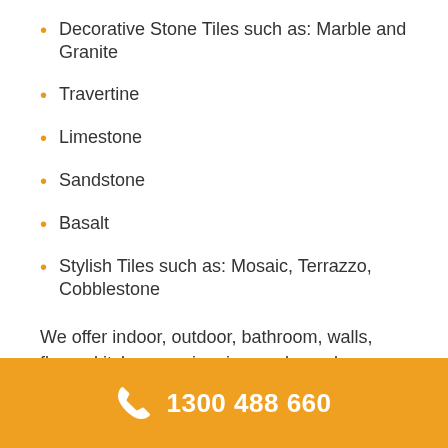Decorative Stone Tiles such as: Marble and Granite
Travertine
Limestone
Sandstone
Basalt
Stylish Tiles such as: Mosaic, Terrazzo, Cobblestone
We offer indoor, outdoor, bathroom, walls, floors, kitchens, swimming pools, and more.
1300 488 660